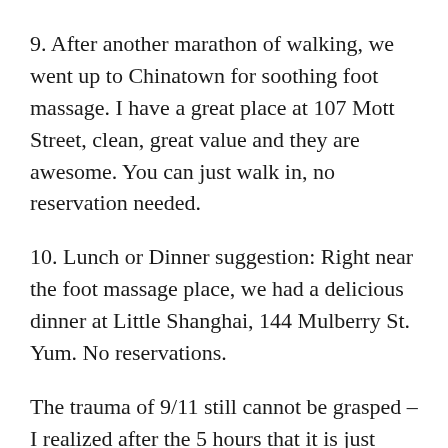9. After another marathon of walking, we went up to Chinatown for soothing foot massage. I have a great place at 107 Mott Street, clean, great value and they are awesome. You can just walk in, no reservation needed.
10. Lunch or Dinner suggestion: Right near the foot massage place, we had a delicious dinner at Little Shanghai, 144 Mulberry St. Yum. No reservations.
The trauma of 9/11 still cannot be grasped – I realized after the 5 hours that it is just impossible to imagine what it's like to run from an exploding building while chunks of furniture, restaurant trays, other debris and parts of airplane are falling out of the sky on your way… this horror was just off the charts.
Yet there was SO MUCH BEAUTY in the recovery and “rebirth” process…which adds to the mystery of the need for